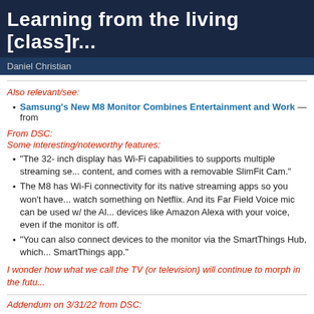[Figure (screenshot): Dark navy banner with bold white title text 'Learning from the living [class]r...' and author name 'Daniel Christian' in a slightly lighter navy bar below.]
Also relevant/see:
Samsung's New M8 Monitor Combines Entertainment and Work — from
From DSC:
Some interesting/noteworthy features:
“The 32- inch display has Wi-Fi capabilities to supports multiple streaming se... content, and comes with a removable SlimFit Cam.”
The M8 has Wi-Fi connectivity for its native streaming apps so you won't have... watch something on Netflix. And its Far Field Voice mic can be used w/ the Al... devices like Amazon Alexa with your voice, even if the monitor is off.
“You can also connect devices to the monitor via the SmartThings Hub, which... SmartThings app.”
I wonder how what we call the TV (or television) will continue to morph in the futu...
Addendum on 3/31/22 from DSC: